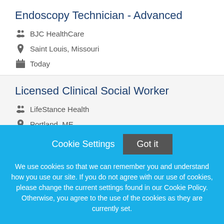Endoscopy Technician - Advanced
BJC HealthCare
Saint Louis, Missouri
Today
Licensed Clinical Social Worker
LifeStance Health
Portland, ME
Today
Cookie Settings   Got it   We use cookies so that we can remember you and understand how you use our site. If you do not agree with our use of cookies, please change the current settings found in our Cookie Policy. Otherwise, you agree to the use of the cookies as they are currently set.